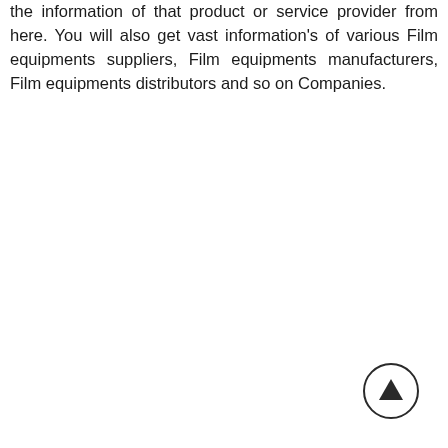the information of that product or service provider from here. You will also get vast information's of various Film equipments suppliers, Film equipments manufacturers, Film equipments distributors and so on Companies.
[Figure (illustration): A circular button with an upward-pointing triangle (arrow) in the center, resembling a scroll-to-top button.]